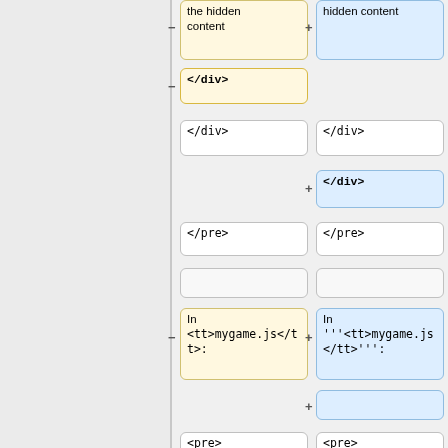[Figure (screenshot): A code diff view showing two columns (left: removed, right: added) with colored cells indicating changes. Left column has yellow/warm cells with minus markers, right column has blue cells with plus markers. Content shows HTML/JavaScript diff including </div>, </pre>, mygame.js references, <pre>, define([ and ebg/expandables text.]